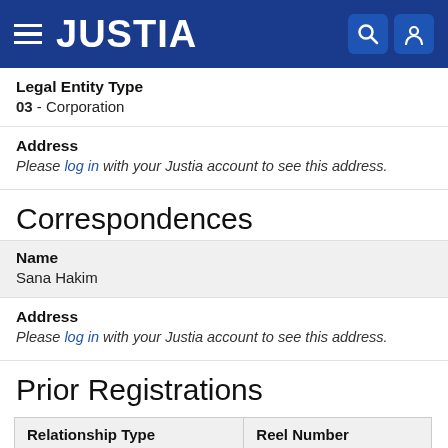JUSTIA
Legal Entity Type
03 - Corporation
Address
Please log in with your Justia account to see this address.
Correspondences
Name
Sana Hakim
Address
Please log in with your Justia account to see this address.
Prior Registrations
| Relationship Type | Reel Number |
| --- | --- |